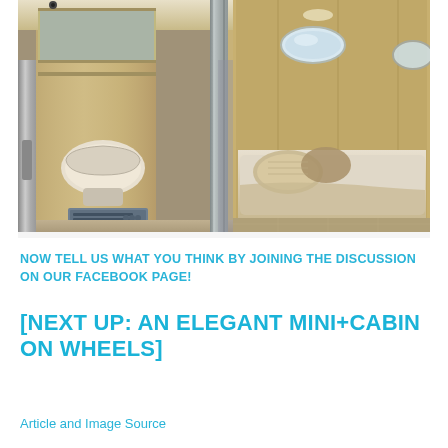[Figure (photo): Interior photo of a compact mobile cabin or trailer showing two sections side by side: left side with a bathroom containing a toilet, shelf/cabinet above, and small appliances; right side showing a bedroom with a bed, pillows, and warm wood-paneled walls with oval windows. The passageway between sections has metallic/aluminum framing.]
NOW TELL US WHAT YOU THINK BY JOINING THE DISCUSSION ON OUR FACEBOOK PAGE!
[NEXT UP: AN ELEGANT MINI+CABIN ON WHEELS]
Article and Image Source